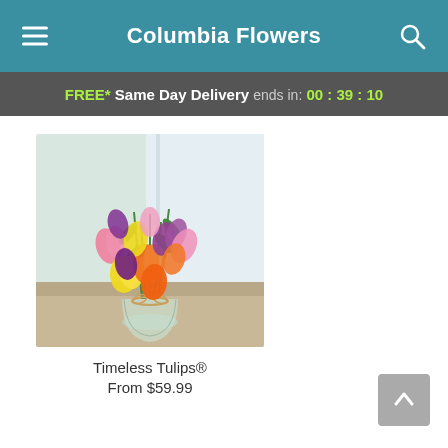Columbia Flowers
FREE* Same Day Delivery ends in: 00 : 39 : 10
[Figure (photo): Colorful tulips bouquet in a glass mason jar with twine bow, in a bright indoor setting near a window. Tulips are pink, yellow, orange, purple, and red.]
Timeless Tulips®
From $59.99